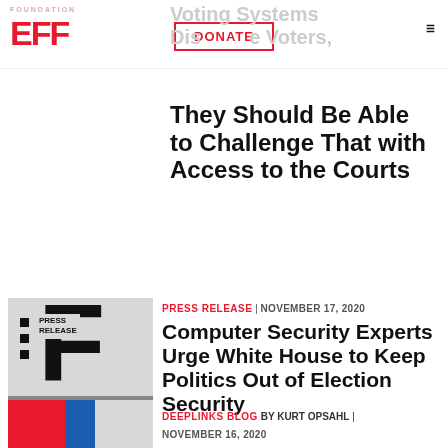EFF | Electronic Frontier Foundation
If Voting Systems Disenfranchise Voters, They Should Be Able to Challenge That with Access to the Courts
[Figure (logo): EFF Electronic Frontier Foundation Press Release thumbnail]
PRESS RELEASE | NOVEMBER 17, 2020
Computer Security Experts Urge White House to Keep Politics Out of Election Security
DEEPLINKS BLOG BY KURT OPSAHL | NOVEMBER 16, 2020